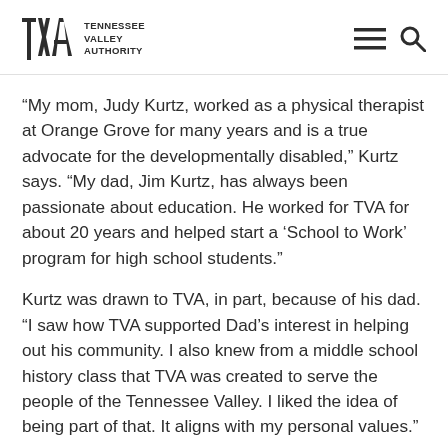TVA Tennessee Valley Authority
“My mom, Judy Kurtz, worked as a physical therapist at Orange Grove for many years and is a true advocate for the developmentally disabled,” Kurtz says. “My dad, Jim Kurtz, has always been passionate about education. He worked for TVA for about 20 years and helped start a ‘School to Work’ program for high school students.”
Kurtz was drawn to TVA, in part, because of his dad. “I saw how TVA supported Dad’s interest in helping out his community. I also knew from a middle school history class that TVA was created to serve the people of the Tennessee Valley. I liked the idea of being part of that. It aligns with my personal values.”
Kurtz, a licensed Professional Engineer, joined TVA in 2003 as a transmission operator. He is relatively new